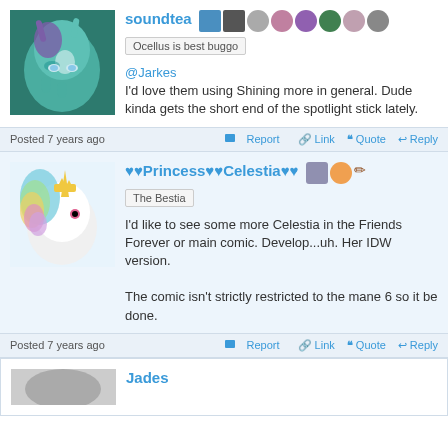soundtea — Ocellus is best buggo
@Jarkes
I'd love them using Shining more in general. Dude kinda gets the short end of the spotlight stick lately.
Posted 7 years ago | Report | Link | Quote | Reply
♥♥Princess♥♥Celestia♥♥ — The Bestia
I'd like to see some more Celestia in the Friends Forever or main comic. Develop...uh. Her IDW version.

The comic isn't strictly restricted to the mane 6 so it be done.
Posted 7 years ago | Report | Link | Quote | Reply
Jades